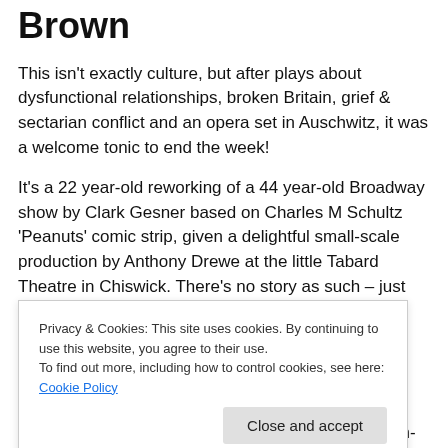Brown
This isn't exactly culture, but after plays about dysfunctional relationships, broken Britain, grief & sectarian conflict and an opera set in Auschwitz, it was a welcome tonic to end the week!
It's a 22 year-old reworking of a 44 year-old Broadway show by Clark Gesner based on Charles M Schultz 'Peanuts' comic strip, given a delightful small-scale production by Anthony Drewe at the little Tabard Theatre in Chiswick. There's no story as such – just
Privacy & Cookies: This site uses cookies. By continuing to use this website, you agree to their use.
To find out more, including how to control cookies, see here: Cookie Policy
something different. For us adults, it's wry, tongue-in-